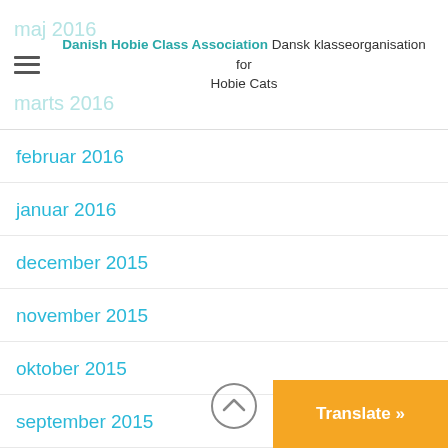Danish Hobie Class Association Dansk klasseorganisation for Hobie Cats
februar 2016
januar 2016
december 2015
november 2015
oktober 2015
september 2015
juni 2015
Kategorier
333 Archive